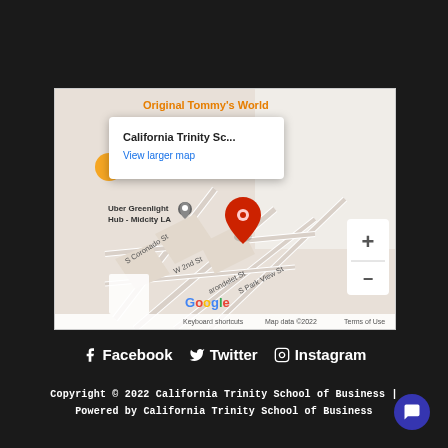[Figure (map): Google Maps embed showing California Trinity School location near S Park View St and W 2nd St in Midcity LA, with a red location pin and a tooltip showing 'California Trinity Sc...' and 'View larger map' link. Map includes Uber Greenlight Hub - Midcity LA label, S Coronado St, W 2nd St, S Barondelet St, S Park View St streets, zoom controls, and Google branding.]
f Facebook  🐦 Twitter  Instagram
Copyright © 2022 California Trinity School of Business | Powered by California Trinity School of Business